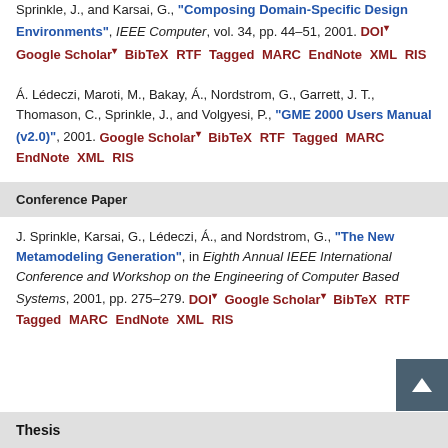Sprinkle, J., and Karsai, G., "Composing Domain-Specific Design Environments", IEEE Computer, vol. 34, pp. 44–51, 2001. DOI Google Scholar BibTeX RTF Tagged MARC EndNote XML RIS
Á. Lédeczi, Maroti, M., Bakay, Á., Nordstrom, G., Garrett, J. T., Thomason, C., Sprinkle, J., and Volgyesi, P., "GME 2000 Users Manual (v2.0)", 2001. Google Scholar BibTeX RTF Tagged MARC EndNote XML RIS
Conference Paper
J. Sprinkle, Karsai, G., Lédeczi, Á., and Nordstrom, G., "The New Metamodeling Generation", in Eighth Annual IEEE International Conference and Workshop on the Engineering of Computer Based Systems, 2001, pp. 275–279. DOI Google Scholar BibTeX RTF Tagged MARC EndNote XML RIS
Thesis